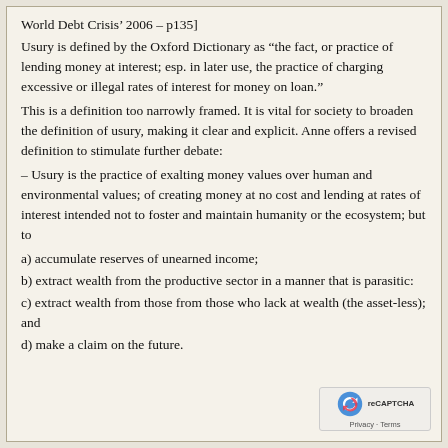World Debt Crisis' 2006 – p135]
Usury is defined by the Oxford Dictionary as “the fact, or practice of lending money at interest; esp. in later use, the practice of charging excessive or illegal rates of interest for money on loan.”
This is a definition too narrowly framed. It is vital for society to broaden the definition of usury, making it clear and explicit. Anne offers a revised definition to stimulate further debate:
– Usury is the practice of exalting money values over human and environmental values; of creating money at no cost and lending at rates of interest intended not to foster and maintain humanity or the ecosystem; but to
a) accumulate reserves of unearned income;
b) extract wealth from the productive sector in a manner that is parasitic:
c) extract wealth from those from those who lack at wealth (the asset-less); and
d) make a claim on the future.